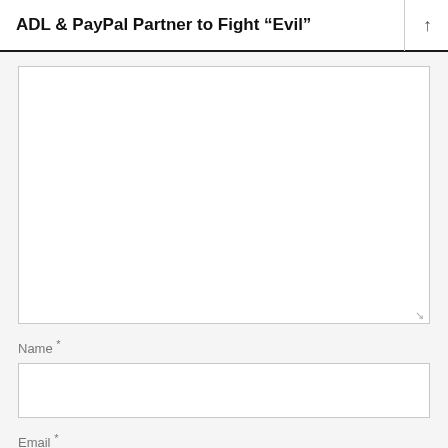ADL & PayPal Partner to Fight “Evil”
Name *
Email *